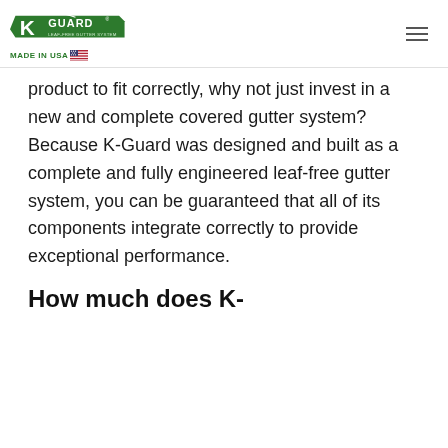K-Guard Leaf Free Gutter System MADE IN USA
product to fit correctly, why not just invest in a new and complete covered gutter system? Because K-Guard was designed and built as a complete and fully engineered leaf-free gutter system, you can be guaranteed that all of its components integrate correctly to provide exceptional performance.
How much does K-